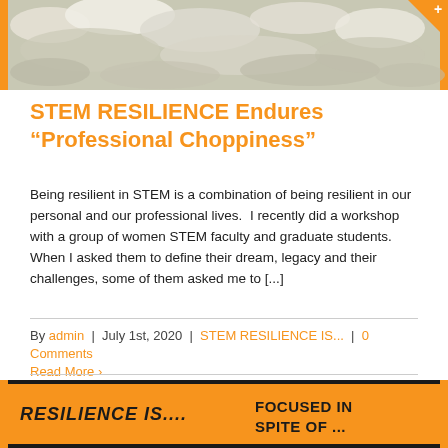[Figure (photo): Photograph of waves or snowy/foamy rough water surface, with black border and orange accents]
STEM RESILIENCE Endures “Professional Choppiness”
Being resilient in STEM is a combination of being resilient in our personal and our professional lives.  I recently did a workshop with a group of women STEM faculty and graduate students.  When I asked them to define their dream, legacy and their challenges, some of them asked me to [...]
By admin | July 1st, 2020 | STEM RESILIENCE IS... | 0 Comments
Read More ›
[Figure (photo): Orange banner image with text: RESILIENCE IS.... FOCUSED IN SPITE OF ...]